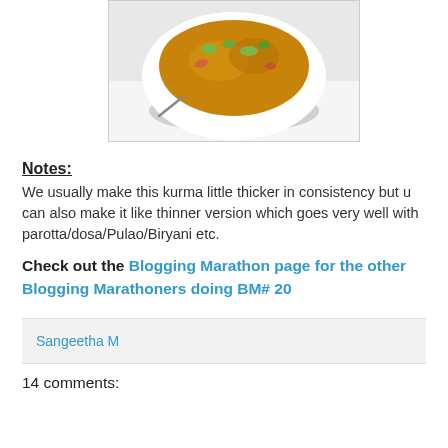[Figure (photo): A white bowl filled with kurma curry dish, showing vegetables and gravy, photographed from above on a white background.]
Notes:
We usually make this kurma little thicker in consistency but u can also make it like thinner version which goes very well with parotta/dosa/Pulao/Biryani etc.
Check out the Blogging Marathon page for the other Blogging Marathoners doing BM# 20
Sangeetha M
14 comments: